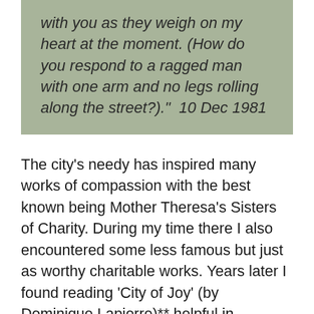with you as they weigh on my heart at the moment. (How do you respond to a ragged man with one arm and no legs rolling along the street?)." 10 Dec 1981
The city's needy has inspired many works of compassion with the best known being Mother Theresa's Sisters of Charity. During my time there I also encountered some less famous but just as worthy charitable works. Years later I found reading 'City of Joy' (by Dominique Lapierre)** helpful in describing